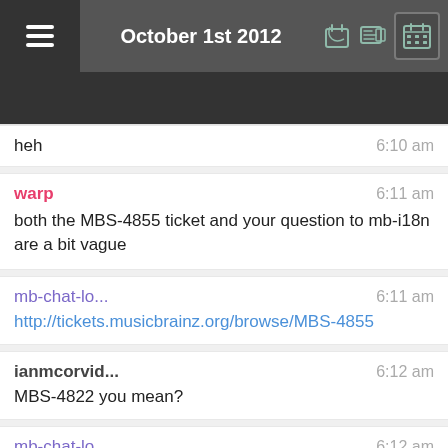October 1st 2012
heh   6:10 am
warp   6:11 am
both the MBS-4855 ticket and your question to mb-i18n are a bit vague
mb-chat-lo...   6:11 am
http://tickets.musicbrainz.org/browse/MBS-4855
ianmcorvid...   6:12 am
MBS-4822 you mean?
mb-chat-lo...   6:12 am
http://tickets.musicbrainz.org/browse/MBS-4822
warp   6:12 am